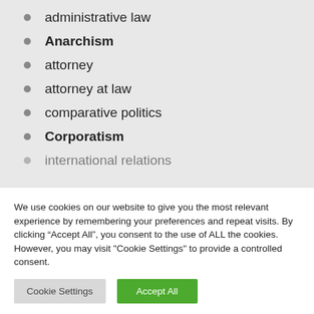administrative law
Anarchism
attorney
attorney at law
comparative politics
Corporatism
international relations
We use cookies on our website to give you the most relevant experience by remembering your preferences and repeat visits. By clicking “Accept All”, you consent to the use of ALL the cookies. However, you may visit "Cookie Settings" to provide a controlled consent.